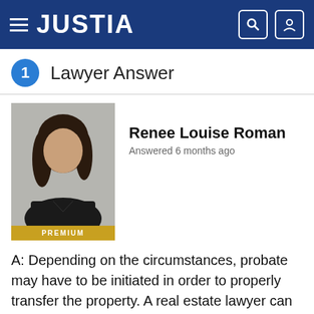JUSTIA
1 Lawyer Answer
[Figure (photo): Headshot of Renee Louise Roman, a woman with dark hair, wearing a dark jacket. A gold PREMIUM banner appears at the bottom of the photo.]
Renee Louise Roman
Answered 6 months ago
A: Depending on the circumstances, probate may have to be initiated in order to properly transfer the property. A real estate lawyer can prepare a deed and tax affidavit which can then be executed and recorded. You may wish to contact an attorney who practices both real estate and probate to determine exactly what needs to be